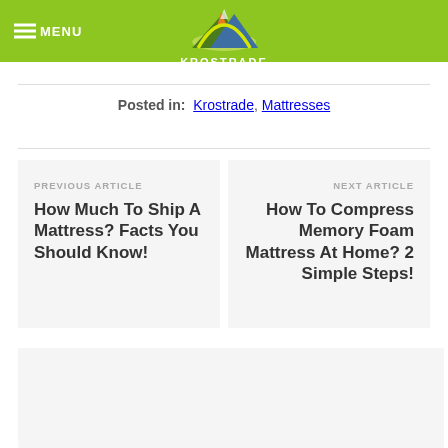MENU | KROSTRADE
Posted in: Krostrade, Mattresses
PREVIOUS ARTICLE
How Much To Ship A Mattress? Facts You Should Know!
NEXT ARTICLE
How To Compress Memory Foam Mattress At Home? 2 Simple Steps!